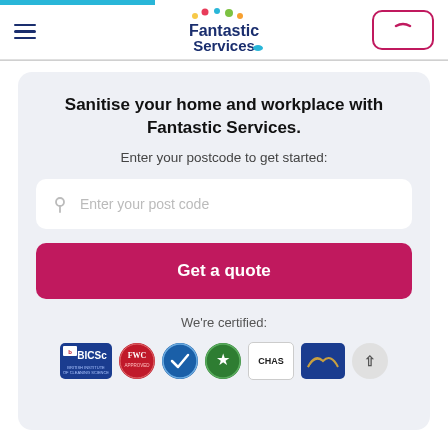Fantastic Services - Navigation bar with hamburger menu, logo, and phone button
Sanitise your home and workplace with Fantastic Services.
Enter your postcode to get started:
Enter your post code
Get a quote
We're certified:
[Figure (logo): Certification logos: BICSc, FWC, blue accreditation badge, green star badge, CHAS, blue wing badge, arrow button]